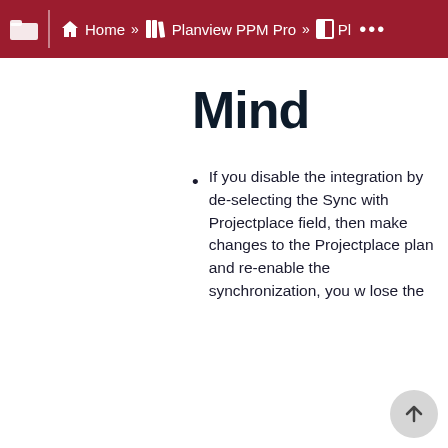Home » Planview PPM Pro » Pl ...
Mind
If you disable the integration by de-selecting the Sync with Projectplace field, then make changes to the Projectplace plan and re-enable the synchronization, you will lose the